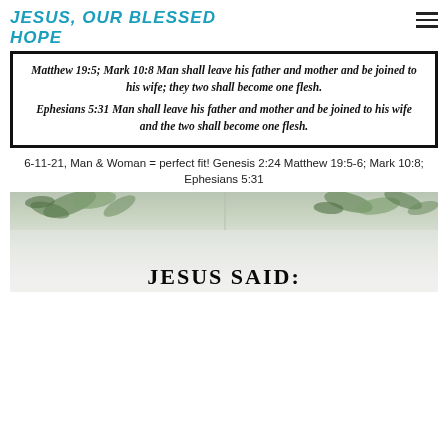JESUS, OUR BLESSED HOPE
[Figure (illustration): Framed scripture text box with italic bold serif font containing Matthew 19:5; Mark 10:8 and Ephesians 5:31 Bible verses about marriage]
6-11-21, Man & Woman = perfect fit! Genesis 2:24 Matthew 19:5-6; Mark 10:8; Ephesians 5:31
[Figure (photo): Photo showing greenery/plants on white fabric background with partial text JESUS SAID: visible at bottom]